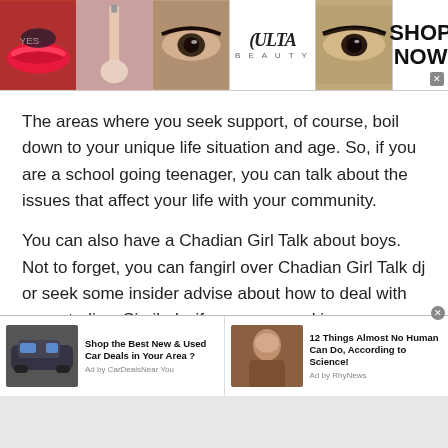[Figure (other): Ulta Beauty banner advertisement with makeup imagery — lips, brush, eye makeup, Ulta logo, model eyes, and SHOP NOW button]
The areas where you seek support, of course, boil down to your unique life situation and age. So, if you are a school going teenager, you can talk about the issues that affect your life with your community.
You can also have a Chadian Girl Talk about boys. Not to forget, you can fangirl over Chadian Girl Talk dj or seek some insider advise about how to deal with your studies. Similarly, if you are a working woman who is handling a family life as well, then you can gain all the positive vibes
[Figure (other): Bottom advertisement bar with two ad units: 'Shop the Best New & Used Car Deals in Your Area?' by CarDealsNear You, and '12 Things Almost No Human Can Do, According to Science!' by RhyNews]